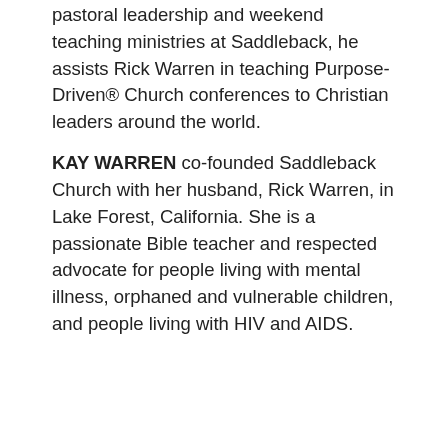pastoral leadership and weekend teaching ministries at Saddleback, he assists Rick Warren in teaching Purpose-Driven® Church conferences to Christian leaders around the world.
KAY WARREN co-founded Saddleback Church with her husband, Rick Warren, in Lake Forest, California. She is a passionate Bible teacher and respected advocate for people living with mental illness, orphaned and vulnerable children, and people living with HIV and AIDS.